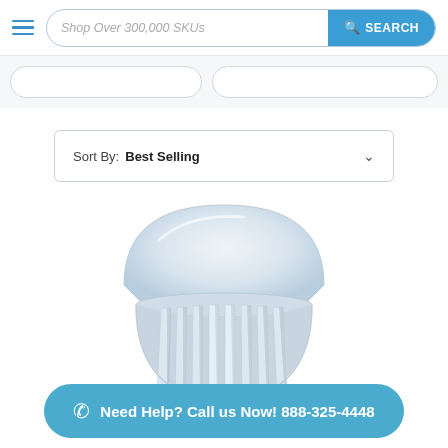Shop Over 300,000 SKUs | SEARCH
Sort By: Best Selling
[Figure (photo): Close-up of an LED light bulb with white finned heat sink body and dome-shaped frosted top, photographed against a white background]
Need Help? Call us Now! 888-325-4448